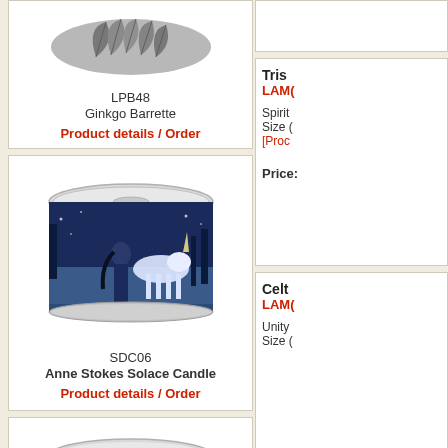[Figure (photo): Ginkgo Barrette product image - silver leaf hair barrette]
LPB48
Ginkgo Barrette
Product details / Order
[Figure (photo): Anne Stokes Solace Candle tin with woman and unicorn design]
SDC06
Anne Stokes Solace Candle
Product details / Order
[Figure (photo): Another candle tin with fairy and horse design]
[Figure (photo): Right side product image area - top (blank/cropped)]
Tris
LAM(
Spirit
Size (
[Proc
Price:
[Figure (photo): Right side product image area - bottom (blank/cropped)]
Celt
LAM(
Unity
Size (